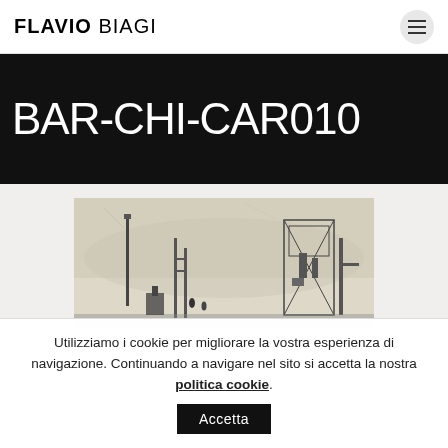FLAVIO BIAGI
BAR-CHI-CAR010
[Figure (illustration): Charcoal or pencil sketch of an industrial scene with tall structures, scaffolding, cranes, and small human figures, rendered in dark tones against a light background.]
Utilizziamo i cookie per migliorare la vostra esperienza di navigazione. Continuando a navigare nel sito si accetta la nostra politica cookie.